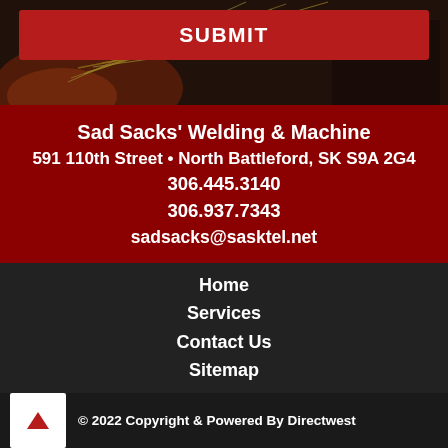[Figure (photo): Background photo of welding sparks/machinery]
SUBMIT
Sad Sacks' Welding & Machine
591 110th Street • North Battleford, SK S9A 2G4
306.445.3140
306.937.7343
sadsacks@sasktel.net
Home
Services
Contact Us
Sitemap
© 2022 Copyright & Powered By Directwest